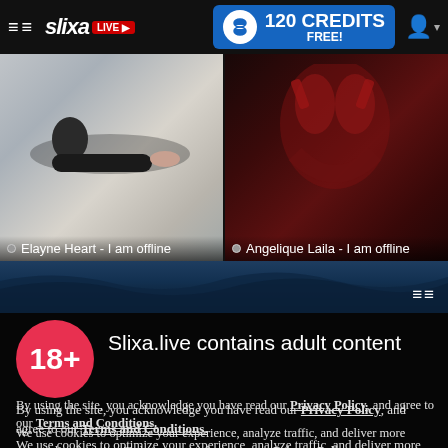[Figure (screenshot): Navigation bar with hamburger menu, Slixa Live logo, 120 Credits Free badge, and user icon]
[Figure (photo): Two thumbnail images side by side: left shows Elayne Heart offline, right shows Angelique Laila offline]
[Figure (photo): Wave/water strip with menu icon on right]
Slixa.live contains adult content
By using the site, you acknowledge you have read our Privacy Policy, and agree to our Terms and Conditions.
We use cookies to optimize your experience, analyze traffic, and deliver more personalized service. To learn more, please see our Privacy Policy.
I AGREE